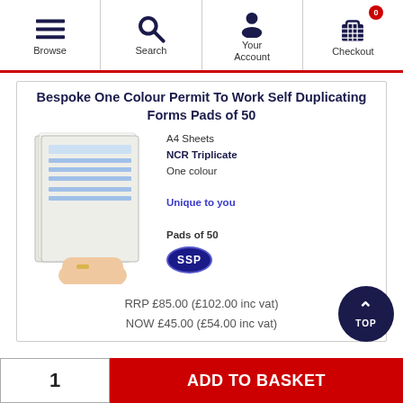Browse | Search | Your Account | Checkout
Bespoke One Colour Permit To Work Self Duplicating Forms Pads of 50
[Figure (photo): Photo of a hand holding a pad of NCR triplicate forms with blue printed content, next to text: A4 Sheets, NCR Triplicate, One colour, Unique to you, Pads of 50, SSP logo]
RRP £85.00 (£102.00 inc vat)
NOW £45.00 (£54.00 inc vat)
1
ADD TO BASKET